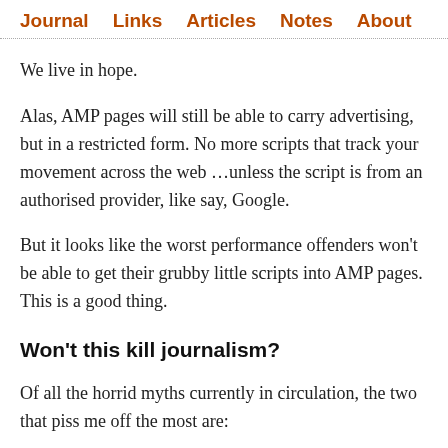Journal  Links  Articles  Notes  About
We live in hope.
Alas, AMP pages will still be able to carry advertising, but in a restricted form. No more scripts that track your movement across the web …unless the script is from an authorised provider, like say, Google.
But it looks like the worst performance offenders won't be able to get their grubby little scripts into AMP pages. This is a good thing.
Won't this kill journalism?
Of all the horrid myths currently in circulation, the two that piss me off the most are:
1. Journalism requires advertising to survive.